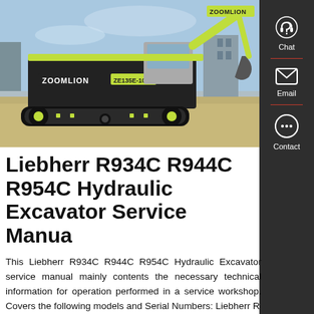[Figure (photo): Zoomlion ZE135E-10 tracked hydraulic excavator parked on a construction site, yellow-green and dark grey color, Zoomlion branding visible on the cab and counterweight.]
Liebherr R934C R944C R954C Hydraulic Excavator Service Manua
This Liebherr R934C R944C R954C Hydraulic Excavator service manual mainly contents the necessary technical information for operation performed in a service workshop. Covers the following models and Serial Numbers: Liebherr R